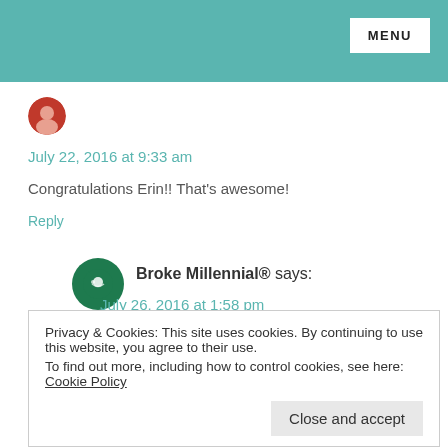MENU
July 22, 2016 at 9:33 am
Congratulations Erin!! That's awesome!
Reply
Broke Millennial® says:
July 26, 2016 at 1:58 pm
Thank you, Tonya!
Privacy & Cookies: This site uses cookies. By continuing to use this website, you agree to their use.
To find out more, including how to control cookies, see here: Cookie Policy
Close and accept
July 25, 2016 at 4:56 am